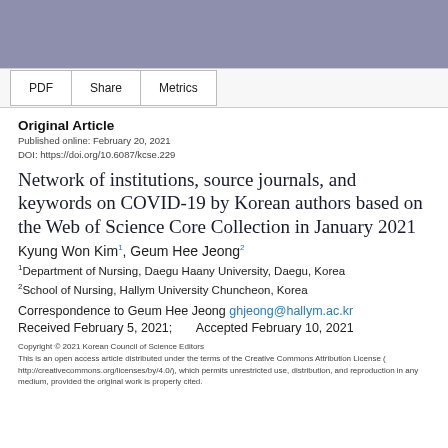[Figure (other): Decorative purple/blue header banner]
PDF | Share | Metrics
Original Article
Published online: February 20, 2021
DOI: https://doi.org/10.6087/kcse.229
Network of institutions, source journals, and keywords on COVID-19 by Korean authors based on the Web of Science Core Collection in January 2021
Kyung Won Kim1, Geum Hee Jeong2
1Department of Nursing, Daegu Haany University, Daegu, Korea
2School of Nursing, Hallym University Chuncheon, Korea
Correspondence to Geum Hee Jeong ghjeong@hallym.ac.kr
Received February 5, 2021;      Accepted February 10, 2021
Copyright © 2021 Korean Council of Science Editors
This is an open access article distributed under the terms of the Creative Commons Attribution License (http://creativecommons.org/licenses/by/4.0/), which permits unrestricted use, distribution, and reproduction in any medium, provided the original work is properly cited.